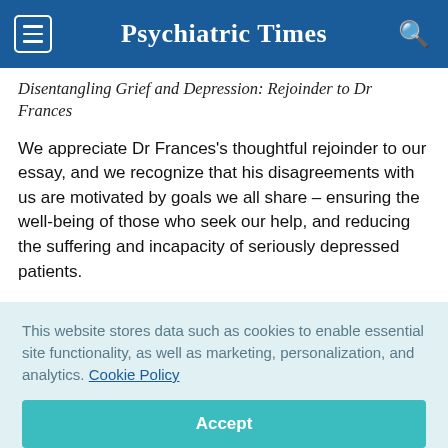Psychiatric Times
Disentangling Grief and Depression: Rejoinder to Dr Frances
We appreciate Dr Frances's thoughtful rejoinder to our essay, and we recognize that his disagreements with us are motivated by goals we all share – ensuring the well-being of those who seek our help, and reducing the suffering and incapacity of seriously depressed patients.
This website stores data such as cookies to enable essential site functionality, as well as marketing, personalization, and analytics. Cookie Policy
Accept
Deny